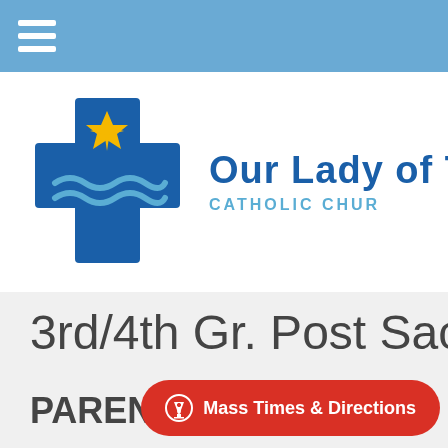Navigation menu
[Figure (logo): Our Lady of the Lake Catholic Church logo: blue cross with yellow star and wave patterns, beside the church name text 'Our Lady of Th... Catholic Chur...' (partially visible)]
3rd/4th Gr. Post Sacrame...
PARENT INF...
Mass Times & Directions